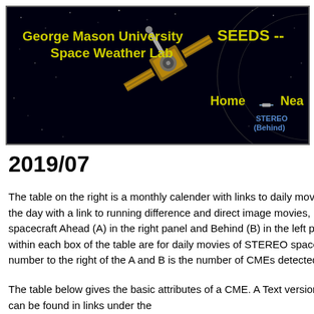[Figure (illustration): George Mason University Space Weather Lab banner with STEREO spacecraft illustration on black starfield background. Yellow text shows institution name and 'SEEDS --' on right. Navigation links 'Home' and 'Nea' visible in yellow. 'STEREO (Behind)' label in blue at bottom right of banner.]
2019/07
The table on the right is a monthly calender with links to daily movies. The top number is the day with a link to running difference and direct image movies, having STEREO spacecraft Ahead (A) in the right panel and Behind (B) in the left panel. The lower links within each box of the table are for daily movies of STEREO spacecraft A and B. The number to the right of the A and B is the number of CMEs detected on that day.
The table below gives the basic attributes of a CME. A Text version of the measurements can be found in links under the